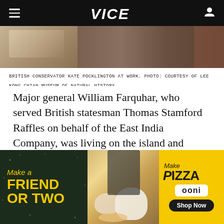VICE
[Figure (photo): Photo of British conservator Kate Pocklington at work, showing hands/animal specimen close-up, warm brown tones]
BRITISH CONSERVATOR KATE POCKLINGTON AT WORK. PHOTO: COURTESY OF LEE KONG CHIAN MUSEUM OF NATURAL HISTORY
Major general William Farquhar, who served British statesman Thomas Stamford Raffles on behalf of the East India Company, was living on the island and overseeing its development when he suffered a tragic mishap with a giant local
[Figure (illustration): Advertisement banner: 'Make a Friend or Two' / 'Make Pizza' ooni 'Shop Now'. Yellow and dark green themed ad with people and dogs at a picnic with pizza.]